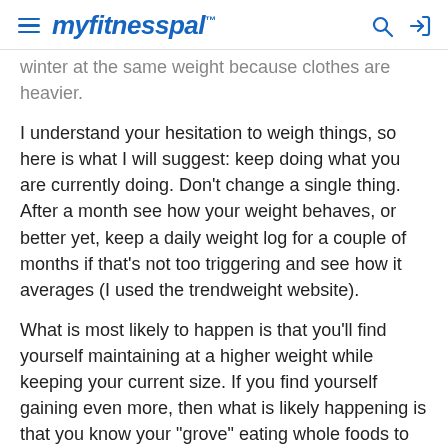myfitnesspal
winter at the same weight because clothes are heavier.
I understand your hesitation to weigh things, so here is what I will suggest: keep doing what you are currently doing. Don't change a single thing. After a month see how your weight behaves, or better yet, keep a daily weight log for a couple of months if that's not too triggering and see how it averages (I used the trendweight website).
What is most likely to happen is that you'll find yourself maintaining at a higher weight while keeping your current size. If you find yourself gaining even more, then what is likely happening is that you know your "grove" eating whole foods to keep you in your desired caloric range, but you don't know your "groove" eating a more flexible